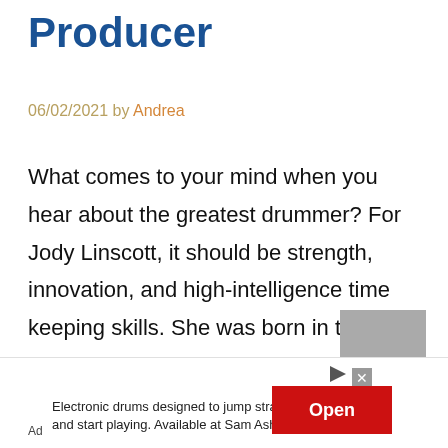Producer
06/02/2021 by Andrea
What comes to your mind when you hear about the greatest drummer? For Jody Linscott, it should be strength, innovation, and high-intelligence time keeping skills. She was born in the USA but relocated to England, where she practiced her skills and grew into one of the famous figures everyone is talking about today. She returned
Ad Electronic drums designed to jump straight in and start playing. Available at Sam Ash. Open